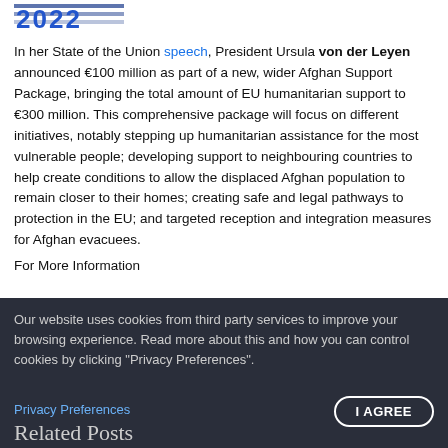[Figure (logo): EU Buzz logo with blue stylized text '2022' and horizontal lines]
In her State of the Union speech, President Ursula von der Leyen announced €100 million as part of a new, wider Afghan Support Package, bringing the total amount of EU humanitarian support to €300 million. This comprehensive package will focus on different initiatives, notably stepping up humanitarian assistance for the most vulnerable people; developing support to neighbouring countries to help create conditions to allow the displaced Afghan population to remain closer to their homes; creating safe and legal pathways to protection in the EU; and targeted reception and integration measures for Afghan evacuees.
For More Information
Our website uses cookies from third party services to improve your browsing experience. Read more about this and how you can control cookies by clicking "Privacy Preferences".
Privacy Preferences
I AGREE
Related Posts